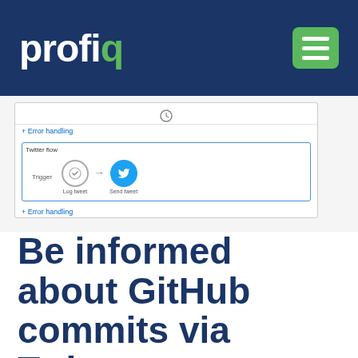[Figure (logo): Profiq logo with white text on dark navy background, green letter q, and hamburger menu button in green]
[Figure (screenshot): Screenshot of a workflow automation tool showing a Twitter flow with nodes for Log tweet and Send tweet, with error handling links]
Be informed about GitHub commits via Twitter
Posted 6 years ago by Michal Kalita